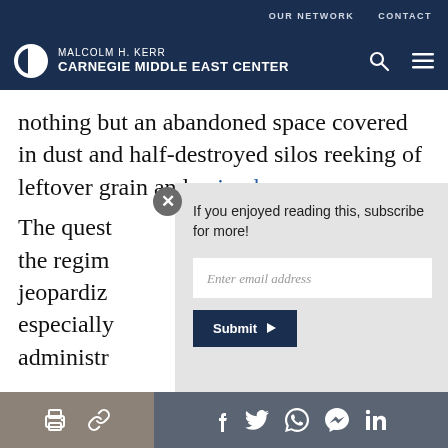OUR NETWORK   CONTACT
[Figure (logo): Malcolm H. Kerr Carnegie Middle East Center logo with search and menu icons]
nothing but an abandoned space covered in dust and half-destroyed silos reeking of leftover grain and animal m[anure]
If you enjoyed reading this, subscribe for more!
The quest[ion is whether] the regim[e will] jeopardiz[e...] especially[...] administr[ation...]
Share icons: print, link, facebook, twitter, whatsapp, messenger, linkedin